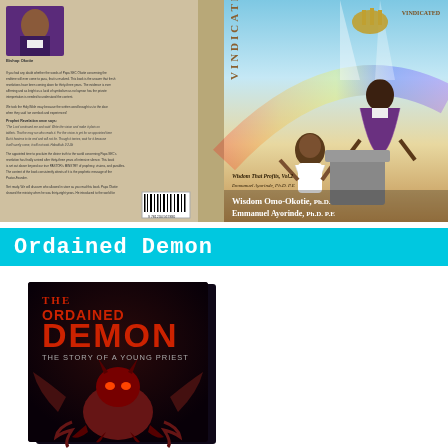[Figure (photo): Book cover of 'Wisdom That Profits Vol 2 / Vindicated' showing front and back cover. Front cover features two men in religious robes with a rainbow background. Authors: Wisdom Omo-Okotie, Ph.D. and Emmanuel Ayorinde, Ph.D. P.E. Back cover contains text reviews and an author photo. Spine visible with title.]
Ordained Demon
[Figure (photo): Book cover of 'The Ordained Demon: The Story of a Young Priest' showing a dark cover with red title text and a demonic figure illustration at the bottom.]